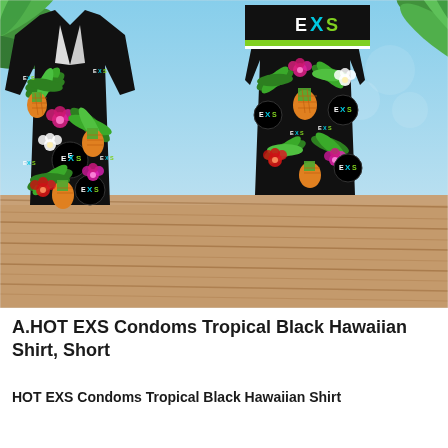[Figure (photo): Product photo showing front and back views of a black Hawaiian shirt with tropical pattern featuring pineapples, palm leaves, and hibiscus flowers with EXS logo circles. Shirts are displayed on a wooden deck surface with a beach background.]
A.HOT EXS Condoms Tropical Black Hawaiian Shirt, Short
HOT EXS Condoms Tropical Black Hawaiian Shirt